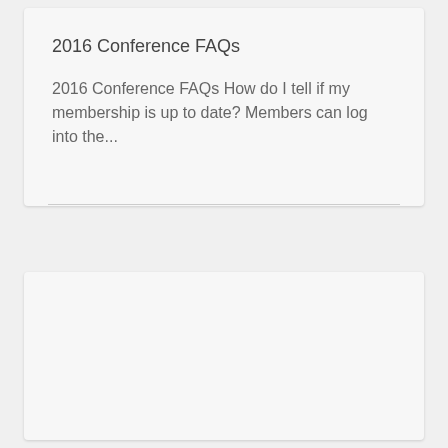2016 Conference FAQs
2016 Conference FAQs How do I tell if my membership is up to date? Members can log into the...